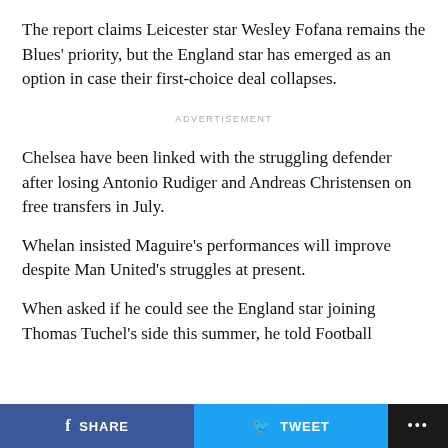The report claims Leicester star Wesley Fofana remains the Blues' priority, but the England star has emerged as an option in case their first-choice deal collapses.
ADVERTISEMENT
Chelsea have been linked with the struggling defender after losing Antonio Rudiger and Andreas Christensen on free transfers in July.
Whelan insisted Maguire's performances will improve despite Man United's struggles at present.
When asked if he could see the England star joining Thomas Tuchel's side this summer, he told Football
SHARE   TWEET   ...